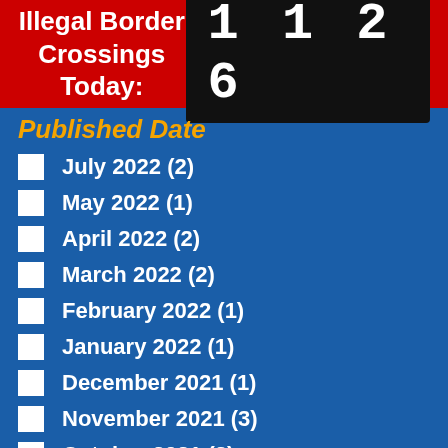Illegal Border Crossings Today: 1126
Published Date
July 2022 (2)
May 2022 (1)
April 2022 (2)
March 2022 (2)
February 2022 (1)
January 2022 (1)
December 2021 (1)
November 2021 (3)
October 2021 (2)
September 2021 (1)
August 2021 (2)
July 2021 (2)
June 2021 (3)